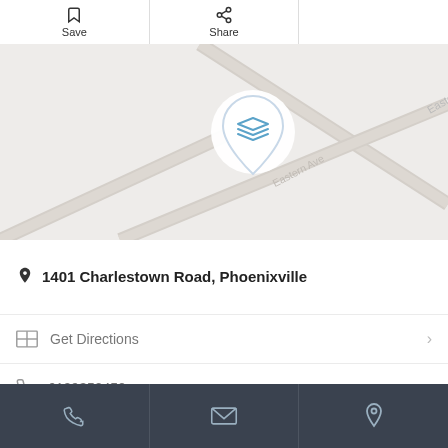[Figure (screenshot): Save and Share buttons in a top toolbar]
[Figure (map): Map showing Eastern Ave, New England St, Northeast Ave with a location pin marker]
1401 Charlestown Road, Phoenixville
Get Directions
6109350450
[Figure (screenshot): Bottom navigation bar with phone, email, and location icons]